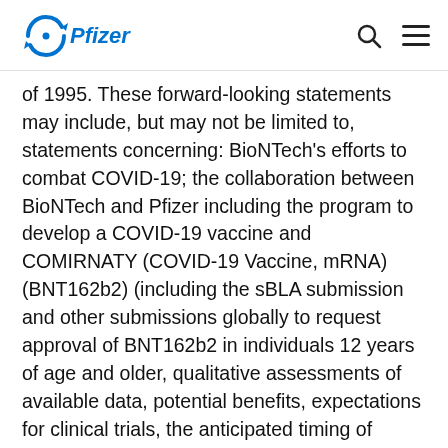Pfizer logo, search icon, menu icon
of 1995. These forward-looking statements may include, but may not be limited to, statements concerning: BioNTech's efforts to combat COVID-19; the collaboration between BioNTech and Pfizer including the program to develop a COVID-19 vaccine and COMIRNATY (COVID-19 Vaccine, mRNA) (BNT162b2) (including the sBLA submission and other submissions globally to request approval of BNT162b2 in individuals 12 years of age and older, qualitative assessments of available data, potential benefits, expectations for clinical trials, the anticipated timing of